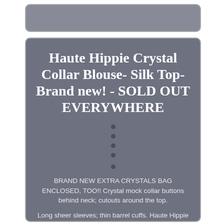Haute Hippie Crystal Collar Blouse- Silk Top- Brand new! - SOLD OUT EVERYWHERE
BRAND NEW EXTRA CRYSTALS BAG ENCLOSED, TOO!! Crystal mock collar buttons behind neck; cutouts around the top.
Long sheer sleeves; thin barrel cuffs. Haute Hippie enhances